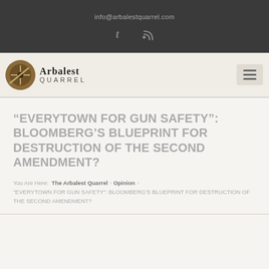info@arbalestquarrel.com
[Figure (logo): Arbalest Quarrel logo with circular crossbow emblem and text 'Arbalest QUARREL']
“EVERYTOWN FOR GUN SAFETY”: BLOOMBERG’S BLUEPRINT FOR DESTRUCTION OF THE SECOND AMENDMENT?
You Are Here: The Arbalest Quarrel › Opinion › “EVERYTOWN FOR GUN SAFETY”: BLOOMBERG’S BLUEPRINT FOR DESTRUCTION OF THE SECOND AMENDMENT?